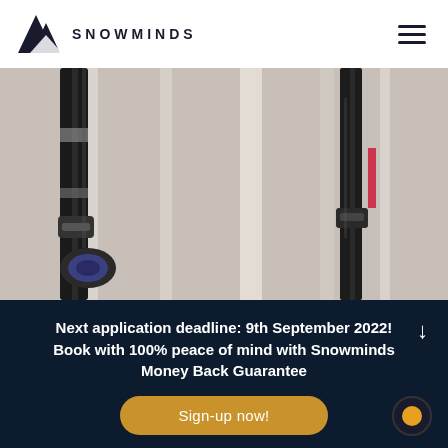SNOWMINDS
[Figure (photo): Close-up photo of ski equipment including ski poles and bindings stored against a wall or rack]
Next application deadline: 9th September 2022! Book with 100% peace of mind with Snowminds Money Back Guarantee
Sign-up now!